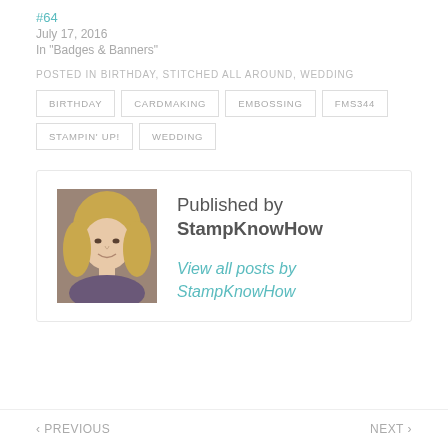#64
July 17, 2016
In "Badges & Banners"
POSTED IN BIRTHDAY, STITCHED ALL AROUND, WEDDING
BIRTHDAY
CARDMAKING
EMBOSSING
FMS344
STAMPIN' UP!
WEDDING
[Figure (photo): Profile photo of StampKnowHow author, a woman with blonde hair smiling]
Published by StampKnowHow
View all posts by StampKnowHow
‹ PREVIOUS  NEXT ›